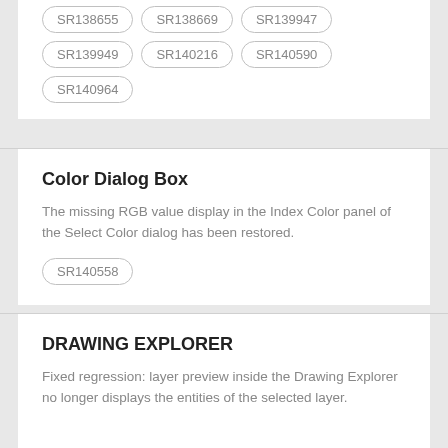SR138655
SR138669
SR139947
SR139949
SR140216
SR140590
SR140964
Color Dialog Box
The missing RGB value display in the Index Color panel of the Select Color dialog has been restored.
SR140558
DRAWING EXPLORER
Fixed regression: layer preview inside the Drawing Explorer no longer displays the entities of the selected layer.